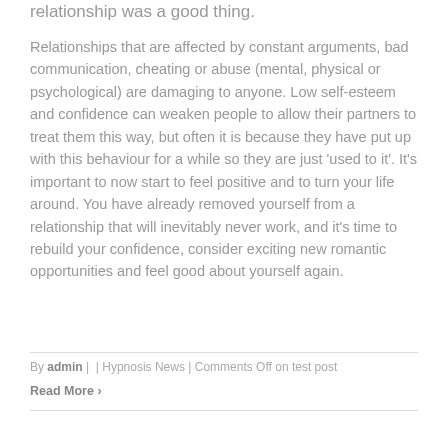relationship was a good thing.
Relationships that are affected by constant arguments, bad communication, cheating or abuse (mental, physical or psychological) are damaging to anyone. Low self-esteem and confidence can weaken people to allow their partners to treat them this way, but often it is because they have put up with this behaviour for a while so they are just 'used to it'. It's important to now start to feel positive and to turn your life around. You have already removed yourself from a relationship that will inevitably never work, and it's time to rebuild your confidence, consider exciting new romantic opportunities and feel good about yourself again.
By admin |  | Hypnosis News | Comments Off on test post
Read More >